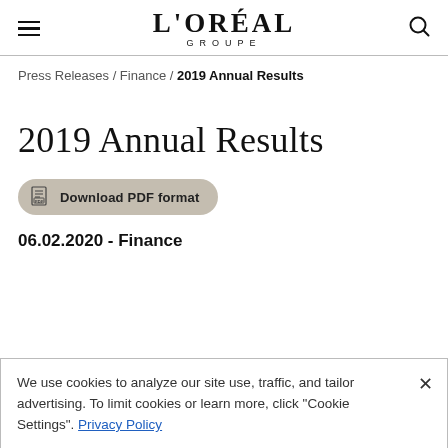L'ORÉAL GROUPE
Press Releases / Finance / 2019 Annual Results
2019 Annual Results
Download PDF format
06.02.2020 - Finance
We use cookies to analyze our site use, traffic, and tailor advertising. To limit cookies or learn more, click "Cookie Settings". Privacy Policy